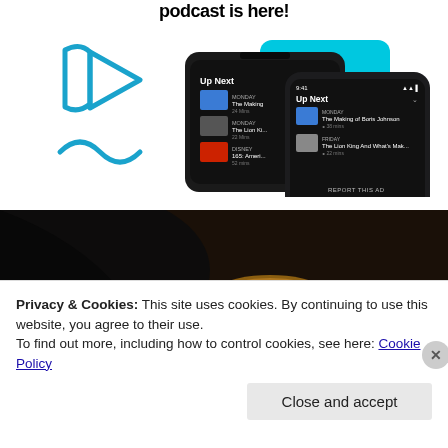podcast is here!
[Figure (screenshot): Advertisement showing a podcast app UI on smartphone screens with 'Up Next' queue showing: The Making of Boris Johnson, The Lion King And What's Maki..., and other items. Blue play button graphic and cyan background card visible.]
[Figure (photo): Close-up photograph of a hand holding what appears to be a golden/brown textured bun or bread roll against a dark background.]
Privacy & Cookies: This site uses cookies. By continuing to use this website, you agree to their use.
To find out more, including how to control cookies, see here: Cookie Policy
Close and accept